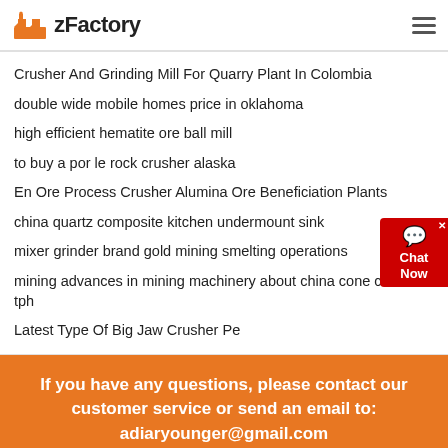zFactory
Crusher And Grinding Mill For Quarry Plant In Colombia
double wide mobile homes price in oklahoma
high efficient hematite ore ball mill
to buy a por le rock crusher alaska
En Ore Process Crusher Alumina Ore Beneficiation Plants
china quartz composite kitchen undermount sink
mixer grinder brand gold mining smelting operations
mining advances in mining machinery about china cone crusher tph
Latest Type Of Big Jaw Crusher Pe
If you have any questions, please contact our customer service or send an email to: adiaryounger@gmail.com